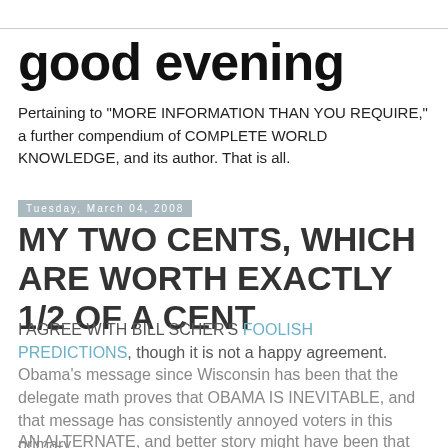good evening
Pertaining to "MORE INFORMATION THAN YOU REQUIRE," a further compendium of COMPLETE WORLD KNOWLEDGE, and its author. That is all.
Tuesday, March 04, 2008
MY TWO CENTS, WHICH ARE WORTH EXACTLY 1/2 OF A CENT
I AGREE WITH BILL SCHER'S FOOLISH PREDICTIONS, though it is not a happy agreement.
Obama's message since Wisconsin has been that the delegate math proves that OBAMA IS INEVITABLE, and that message has consistently annoyed voters in this primary.
AN ALTERNATE, and better story might have been that the delegate math proves that Obama is the...